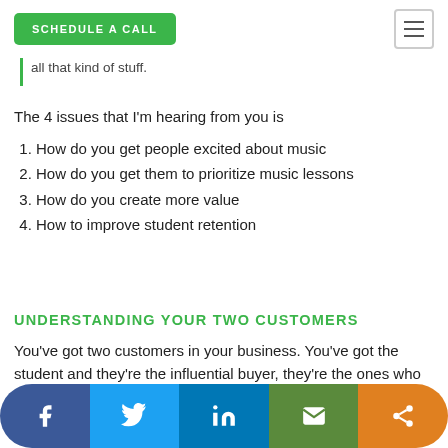SCHEDULE A CALL
all that kind of stuff.
The 4 issues that I'm hearing from you is
How do you get people excited about music
How do you get them to prioritize music lessons
How do you create more value
How to improve student retention
UNDERSTANDING YOUR TWO CUSTOMERS
You've got two customers in your business. You've got the student and they're the influential buyer, they're the ones who are going to be reporting